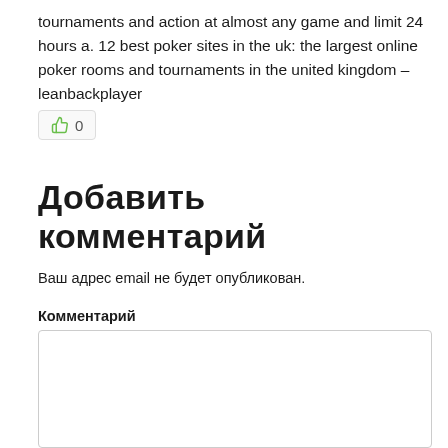tournaments and action at almost any game and limit 24 hours a. 12 best poker sites in the uk: the largest online poker rooms and tournaments in the united kingdom – leanbackplayer
👍 0
Добавить комментарий
Ваш адрес email не будет опубликован.
Комментарий